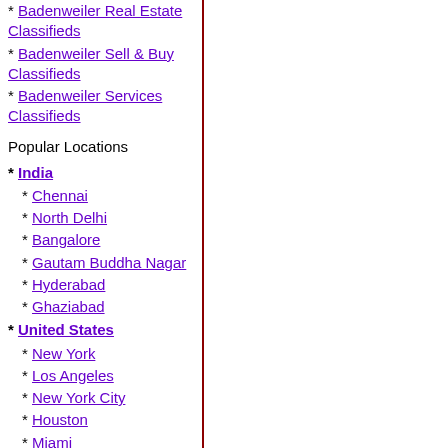* Badenweiler Real Estate Classifieds
* Badenweiler Sell & Buy Classifieds
* Badenweiler Services Classifieds
Popular Locations
* India
* Chennai
* North Delhi
* Bangalore
* Gautam Buddha Nagar
* Hyderabad
* Ghaziabad
* United States
* New York
* Los Angeles
* New York City
* Houston
* Miami
* Chicago
* Cyprus
* Limassol
* Nicosia
* Paphos
* Larnaca
* Famagusta
* Kyrenia